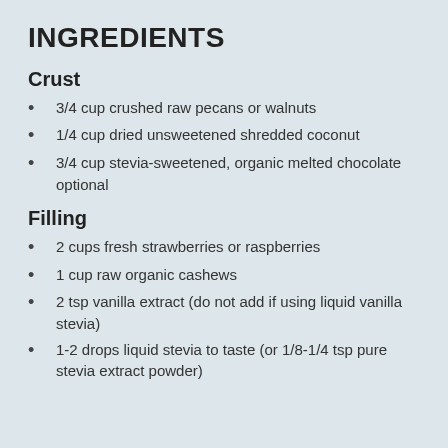INGREDIENTS
Crust
3/4 cup crushed raw pecans or walnuts
1/4 cup dried unsweetened shredded coconut
3/4 cup stevia-sweetened, organic melted chocolate optional
Filling
2 cups fresh strawberries or raspberries
1 cup raw organic cashews
2 tsp vanilla extract (do not add if using liquid vanilla stevia)
1-2 drops liquid stevia to taste (or 1/8-1/4 tsp pure stevia extract powder)